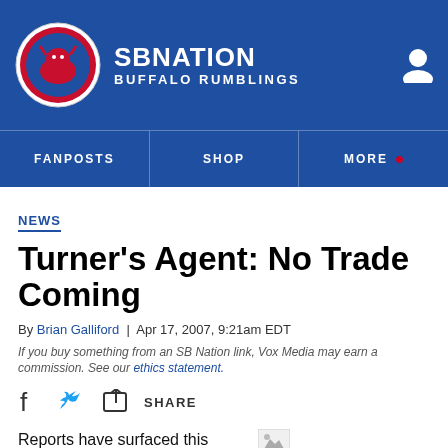SB NATION / BUFFALO RUMBLINGS
NEWS
Turner's Agent: No Trade Coming
By Brian Galliford | Apr 17, 2007, 9:21am EDT
If you buy something from an SB Nation link, Vox Media may earn a commission. See our ethics statement.
SHARE
Reports have surfaced this
Chargers RB Michael Turner